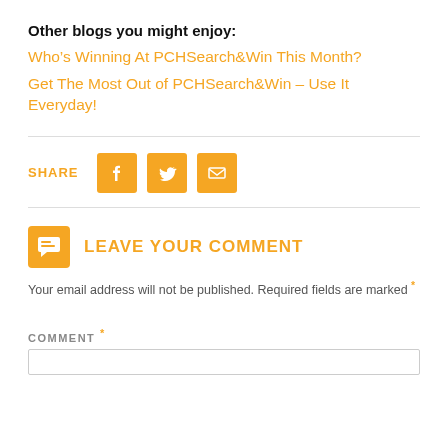Other blogs you might enjoy:
Who’s Winning At PCHSearch&Win This Month?
Get The Most Out of PCHSearch&Win – Use It Everyday!
[Figure (infographic): Share row with SHARE label and Facebook, Twitter, Email orange icon buttons]
LEAVE YOUR COMMENT
Your email address will not be published. Required fields are marked *
COMMENT *